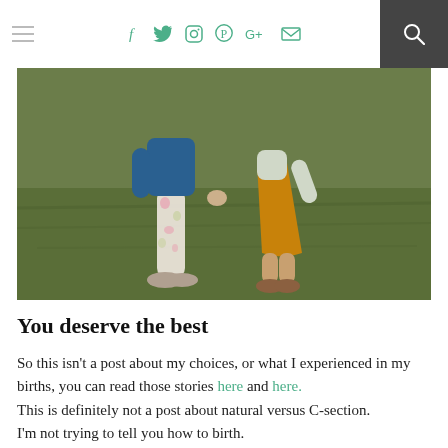Navigation bar with hamburger menu, social icons (Facebook, Twitter, Instagram, Pinterest, Google+, Email), and search button
[Figure (photo): Two young children walking on grass, one wearing floral leggings and one wearing an orange/mustard dress]
You deserve the best
So this isn't a post about my choices, or what I experienced in my births, you can read those stories here and here. This is definitely not a post about natural versus C-section. I'm not trying to tell you how to birth. I am also not down-playing my husband's part in the birth because he was 100% a hero. This a post about how you need to find